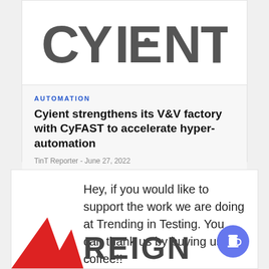[Figure (logo): Cyient company logo in large dark gray letters with a dot inside the letter E]
AUTOMATION
Cyient strengthens its V&V factory with CyFAST to accelerate hyper-automation
TinT Reporter - June 27, 2022
Hey, if you would like to support the work we are doing at Trending in Testing. You can thank us by buying us a coffee!!
[Figure (logo): Partial logo with red shape on left and partial text REIGN on right with a coffee cup button icon]